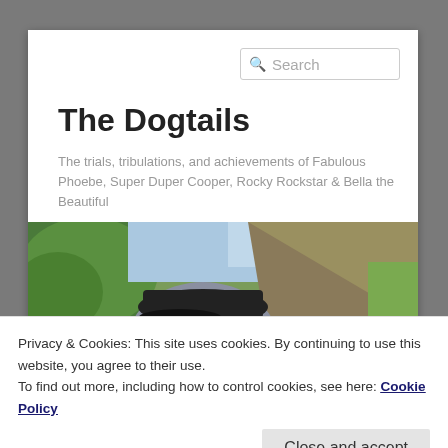The Dogtails
The trials, tribulations, and achievements of Fabulous Phoebe, Super Duper Cooper, Rocky Rockstar & Bella the Beautiful
[Figure (photo): Close-up photo of a grey dog wearing a black cap, outdoors with green grass and trees in the background]
Privacy & Cookies: This site uses cookies. By continuing to use this website, you agree to their use.
To find out more, including how to control cookies, see here: Cookie Policy
Close and accept